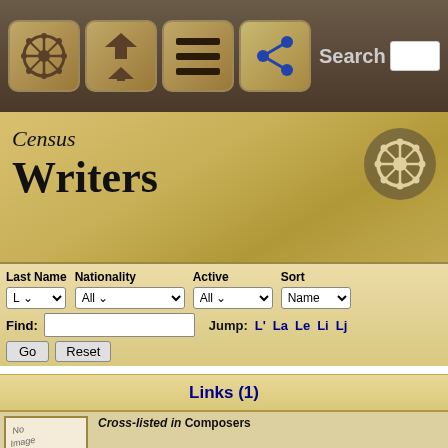[Figure (screenshot): Navigation bar with icons: helm wheel, home/up arrow, hamburger menu, share icon, and Search text input]
Census
Writers
[Figure (screenshot): Filter controls: Last Name dropdown (L), Nationality dropdown (All), Active dropdown (All), Sort dropdown (Name). Find text input with Go and Reset buttons. Jump links: L', La, Le, Li, Lj]
Links (1)
Cross-listed in Composers
William Leighton
born 1565
an Elizabethan composer and editor who published The T... Lamentatacions of a Sorrowfull Soule (1614) which comp... composers (among them John Bull, William Byrd, John... Peerson), including eight by himself. There is a mode...
Links (1)